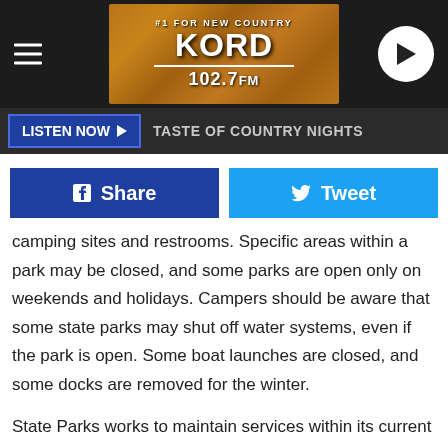KORD 102.7 FM #1 FOR NEW COUNTRY
LISTEN NOW ▶  TASTE OF COUNTRY NIGHTS
Share  Tweet
camping sites and restrooms. Specific areas within a park may be closed, and some parks are open only on weekends and holidays. Campers should be aware that some state parks may shut off water systems, even if the park is open. Some boat launches are closed, and some docks are removed for the winter.
State Parks works to maintain services within its current operating budget and to provide a geographic balance of services across the state. Parks that close in the winter generally close in October or early November and reopen in the spring when weather and conditions allow.
State Parks offers ample opportunities for those who enjoy camping in